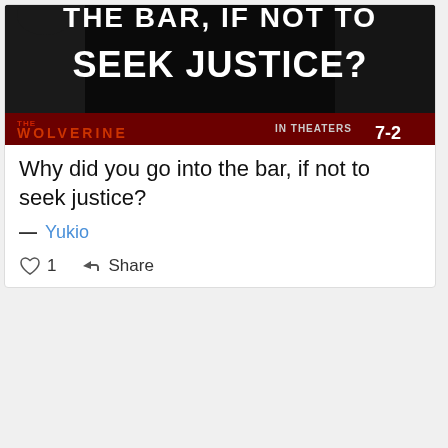[Figure (photo): Movie promotional image for The Wolverine showing dark silhouetted figure with white bold text reading 'THE BAR, IF NOT TO SEEK JUSTICE?' and a dark red banner at bottom with 'THE WOLVERINE' and 'IN THEATERS 7-26']
Why did you go into the bar, if not to seek justice?
— Yukio
♡ 1   Share